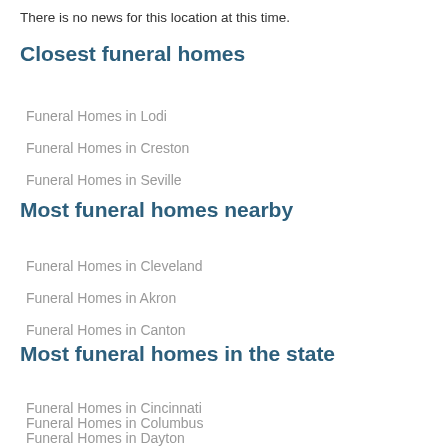There is no news for this location at this time.
Closest funeral homes
Funeral Homes in Lodi
Funeral Homes in Creston
Funeral Homes in Seville
Most funeral homes nearby
Funeral Homes in Cleveland
Funeral Homes in Akron
Funeral Homes in Canton
Most funeral homes in the state
Funeral Homes in Cincinnati
Funeral Homes in Columbus
Funeral Homes in Dayton